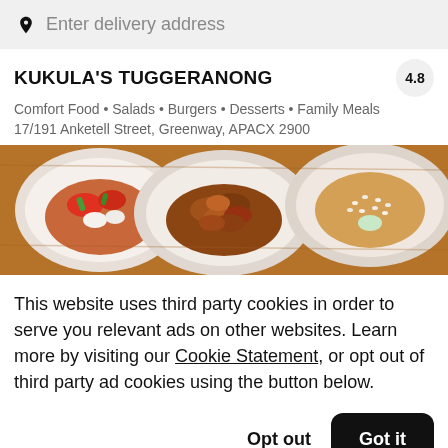Enter delivery address
KUKULA'S TUGGERANONG
Comfort Food • Salads • Burgers • Desserts • Family Meals
17/191 Anketell Street, Greenway, APACX 2900
[Figure (photo): Three bowls of food on a wooden table: a vegetable and tofu dish, a fried meat dish, and a sesame-topped dish]
This website uses third party cookies in order to serve you relevant ads on other websites. Learn more by visiting our Cookie Statement, or opt out of third party ad cookies using the button below.
Opt out
Got it